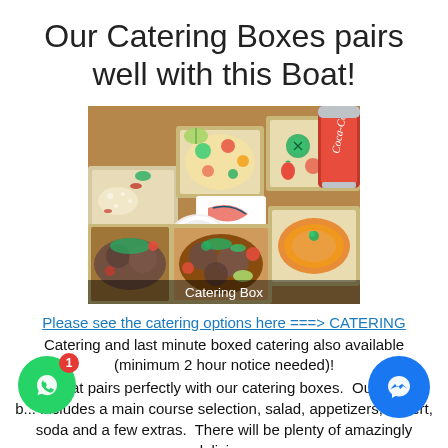Our Catering Boxes pairs well with this Boat!
[Figure (photo): A catering box open, containing multiple food containers with rice, salads, fruit, main course dishes, soup, and a Coca-Cola can. A card with a boat logo sits in the center. Text overlay at bottom reads 'Catering Box'.]
Please see the catering options here ===> CATERING
Catering and last minute boxed catering also available (minimum 2 hour notice needed)!
at pairs perfectly with our catering boxes. Our b... includes a main course selection, salad, appetizers, desert, soda and a few extras. There will be plenty of amazingly delicious